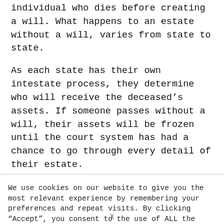individual who dies before creating a will. What happens to an estate without a will, varies from state to state.
As each state has their own intestate process, they determine who will receive the deceased's assets. If someone passes without a will, their assets will be frozen until the court system has had a chance to go through every detail of their estate.
We use cookies on our website to give you the most relevant experience by remembering your preferences and repeat visits. By clicking “Accept”, you consent to the use of ALL the cookies.
X